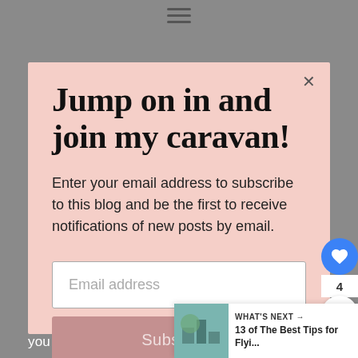[Figure (screenshot): Blog email subscription popup modal with title, description, email input, and subscribe button over a gray background]
Jump on in and join my caravan!
Enter your email address to subscribe to this blog and be the first to receive notifications of new posts by email.
Email address
Subscribe
WHAT'S NEXT → 13 of The Best Tips for Flyi...
trying to get around you. If you are alone you